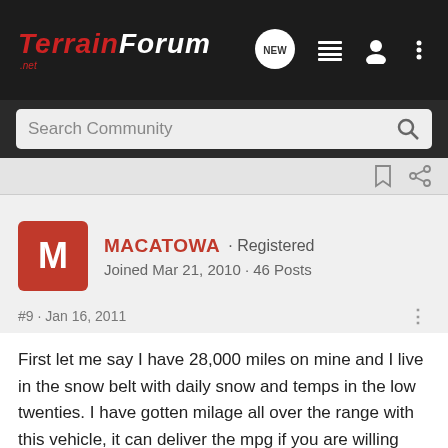TERRAIN FORUM .NET
Search Community
MACATOWA · Registered
Joined Mar 21, 2010 · 46 Posts
#9 · Jan 16, 2011
First let me say I have 28,000 miles on mine and I live in the snow belt with daily snow and temps in the low twenties. I have gotten milage all over the range with this vehicle, it can deliver the mpg if you are willing and patient to get it. The high MPG's don't happen without a strategy, such as in town driving get up to speed reasonably and get into 6th gear as soon as possible, the more you hang in 5 th gear the lower your results. If you